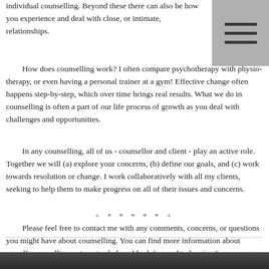individual counselling. Beyond these there can also be how you experience and deal with close, or intimate, relationships.
How does counselling work?  I often compare psychotherapy with  physiotherapy, or even having a personal trainer at a gym! Effective change often happens step-by-step, which over time brings real results. What we do in counselling is often a part of our life process of growth as you deal with challenges and opportunities.
In any counselling, all of us - counsellor and client - play an active role. Together we will (a) explore your concerns, (b) define our goals, and (c) work towards resolution or change.  I work collaboratively with all my clients, seeking to help them to make progress on all of their issues and concerns.
+ * * * * * +
Please feel free to contact me with any comments, concerns, or questions you might have about counselling.  You can find more information about myself, counselling, rates, etc., below.  I look forward to hearing from you.